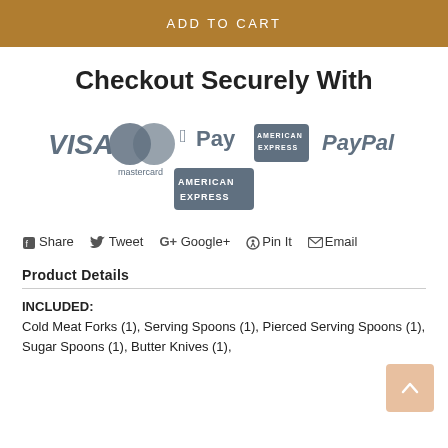ADD TO CART
Checkout Securely With
[Figure (logo): Payment method logos: VISA, Mastercard, Apple Pay, American Express, PayPal, American Express (second instance)]
Share   Tweet   Google+   Pin It   Email
Product Details
INCLUDED: Cold Meat Forks (1), Serving Spoons (1), Pierced Serving Spoons (1), Sugar Spoons (1), Butter Knives (1),